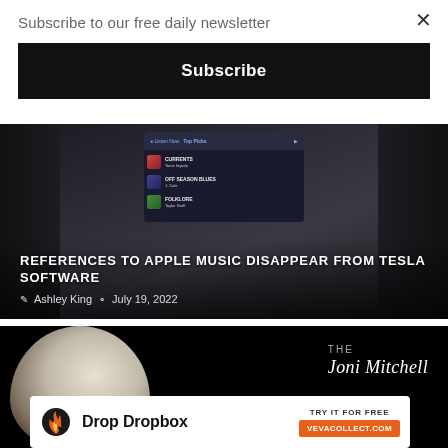Subscribe to our free daily newsletter
×
Subscribe
[Figure (screenshot): Tesla car interior showing the center screen with Apple Music / Spotify interface displaying 'Top Picks' and artist thumbnails, dark car dashboard background]
REFERENCES TO APPLE MUSIC DISAPPEAR FROM TESLA SOFTWARE
Ashley King  July 19, 2022
[Figure (photo): Black and white photo of a person (likely Joni Mitchell) with 'THE Joni Mitchell' signature/text overlay on right side, dark background]
[Figure (infographic): Advertisement banner: Drop Dropbox with orange flame icon, TRY IT FOR FREE, VEVACOLLECT.COM button]